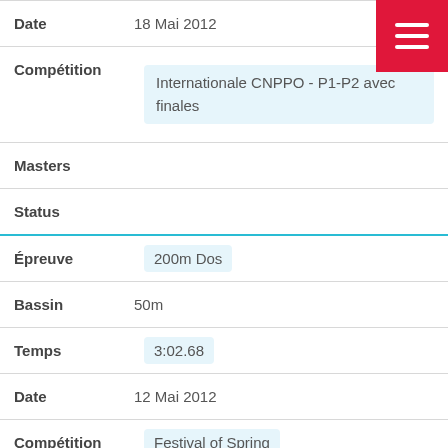| Field | Value |
| --- | --- |
| Date | 18 Mai 2012 |
| Compétition | Internationale CNPPO - P1-P2 avec finales |
| Masters |  |
| Status |  |
| Épreuve | 200m Dos |
| Bassin | 50m |
| Temps | 3:02.68 |
| Date | 12 Mai 2012 |
| Compétition | Festival of Spring |